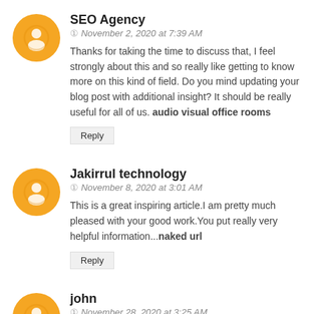[Figure (illustration): Orange circular avatar with a blogger/person icon]
SEO Agency
November 2, 2020 at 7:39 AM
Thanks for taking the time to discuss that, I feel strongly about this and so really like getting to know more on this kind of field. Do you mind updating your blog post with additional insight? It should be really useful for all of us. audio visual office rooms
Reply
[Figure (illustration): Orange circular avatar with a blogger/person icon]
Jakirrul technology
November 8, 2020 at 3:01 AM
This is a great inspiring article.I am pretty much pleased with your good work.You put really very helpful information...naked url
Reply
[Figure (illustration): Orange circular avatar with a blogger/person icon]
john
November 28, 2020 at 3:25 AM
Superbly written article, if only all bloggers offered the same content as you, the internet would be a far better place.